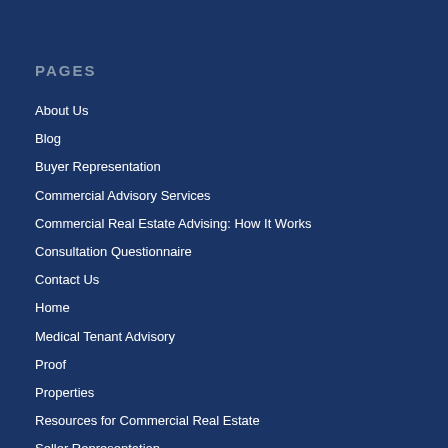PAGES
About Us
Blog
Buyer Representation
Commercial Advisory Services
Commercial Real Estate Advising: How It Works
Consultation Questionnaire
Contact Us
Home
Medical Tenant Advisory
Proof
Properties
Resources for Commercial Real Estate
Seller Representation